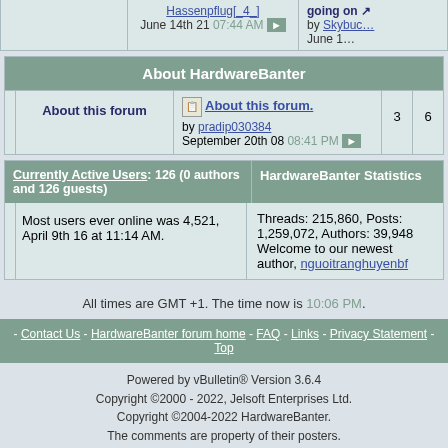| Hassenpflug[_4_]
June 14th 21 07:44 AM | going on ↗
by Skybuc…
June 1… |
About HardwareBanter
| About this forum | About this forum. / by pradip030384 / September 20th 08 08:41 PM | 3 | 6 |
| --- | --- | --- | --- |
| Currently Active Users: 126 (0 authors and 126 guests) | HardwareBanter Statistics |
| --- | --- |
| Most users ever online was 4,521, April 9th 16 at 11:14 AM. | Threads: 215,860, Posts: 1,259,072, Authors: 39,948 Welcome to our newest author, nguoitranghuyenbf |
All times are GMT +1. The time now is 10:06 PM.
- Contact Us - HardwareBanter forum home - FAQ - Links - Privacy Statement - Top
Powered by vBulletin® Version 3.6.4
Copyright ©2000 - 2022, Jelsoft Enterprises Ltd.
Copyright ©2004-2022 HardwareBanter.
The comments are property of their posters.